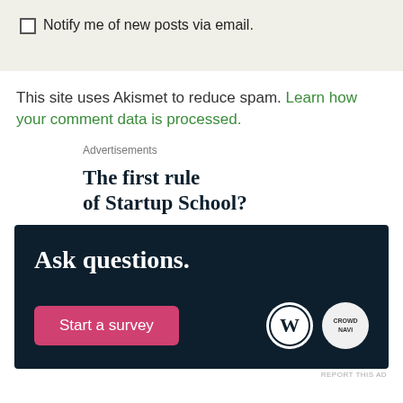Notify me of new posts via email.
This site uses Akismet to reduce spam. Learn how your comment data is processed.
Advertisements
The first rule of Startup School?
[Figure (infographic): Dark navy advertisement banner with white bold text 'Ask questions.' and a pink 'Start a survey' button, WordPress logo and CrowdNav logo in the bottom right corner.]
REPORT THIS AD